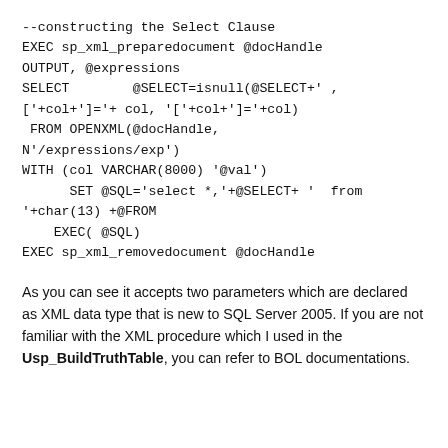--constructing the Select Clause
EXEC sp_xml_preparedocument @docHandle
OUTPUT, @expressions
SELECT        @SELECT=isnull(@SELECT+' ,
['+col+']='+ col, '['+col+']='+col)
 FROM OPENXML(@docHandle,
N'/expressions/exp')
WITH (col VARCHAR(8000) '@val')
      SET @SQL='select *,'+@SELECT+ '  from
'+char(13) +@FROM
    EXEC( @SQL)
EXEC sp_xml_removedocument @docHandle
As you can see it accepts two parameters which are declared as XML data type that is new to SQL Server 2005. If you are not familiar with the XML procedure which I used in the Usp_BuildTruthTable, you can refer to BOL documentations.